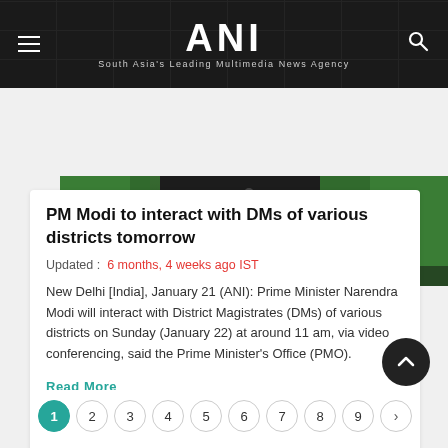ANI — South Asia's Leading Multimedia News Agency
[Figure (photo): Partial view of a press conference or official event with dark podium center and green Indian flag on sides]
PM Modi to interact with DMs of various districts tomorrow
Updated :  6 months, 4 weeks ago IST
New Delhi [India], January 21 (ANI): Prime Minister Narendra Modi will interact with District Magistrates (DMs) of various districts on Sunday (January 22) at around 11 am, via video conferencing, said the Prime Minister's Office (PMO).
Read More